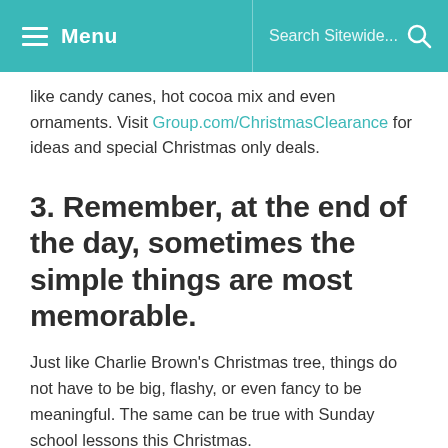Menu | Search Sitewide...
like candy canes, hot cocoa mix and even ornaments. Visit Group.com/ChristmasClearance for ideas and special Christmas only deals.
3. Remember, at the end of the day, sometimes the simple things are most memorable.
Just like Charlie Brown's Christmas tree, things do not have to be big, flashy, or even fancy to be meaningful. The same can be true with Sunday school lessons this Christmas.
With the Simply Loved Holiday Year 1 or Holiday Year 2 packs you'll receive fresh, engaging and memorable Christmas Sunday school lessons built to keep things 'Simple,' while